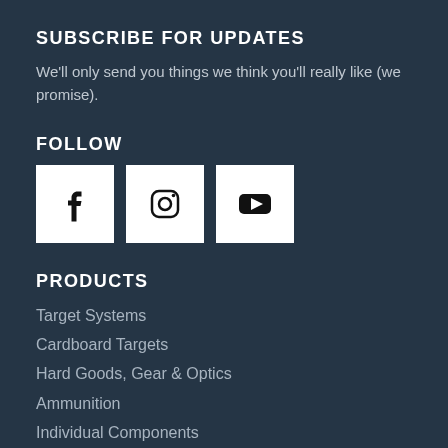SUBSCRIBE FOR UPDATES
We'll only send you things we think you'll really like (we promise).
FOLLOW
[Figure (infographic): Three social media icon boxes: Facebook, Instagram, YouTube]
PRODUCTS
Target Systems
Cardboard Targets
Hard Goods, Gear & Optics
Ammunition
Individual Components
Merchandise